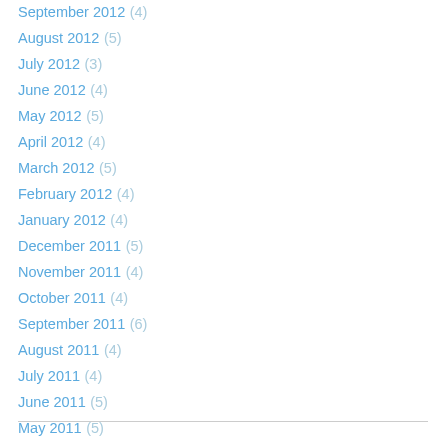September 2012 (4)
August 2012 (5)
July 2012 (3)
June 2012 (4)
May 2012 (5)
April 2012 (4)
March 2012 (5)
February 2012 (4)
January 2012 (4)
December 2011 (5)
November 2011 (4)
October 2011 (4)
September 2011 (6)
August 2011 (4)
July 2011 (4)
June 2011 (5)
May 2011 (5)
April 2011 (1)